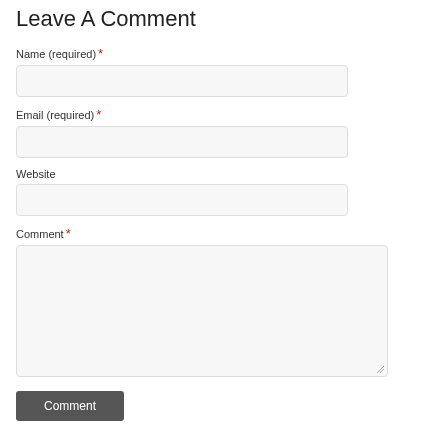Leave A Comment
Name (required) *
Email (required) *
Website
Comment *
Comment [button]